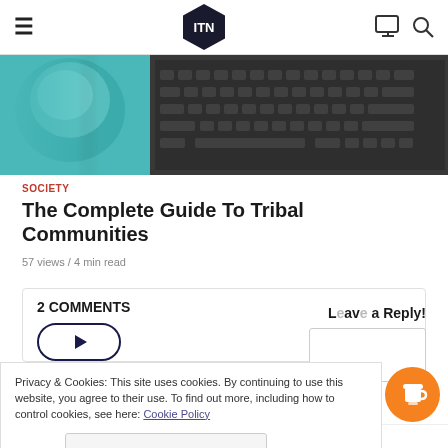ITN — navigation header with hamburger menu, ITN hexagon logo, monitor icon, search icon
[Figure (photo): Hero image showing a teal/green coffee mug on the left and a laptop keyboard on the right, warm lighting]
SOCIETY
The Complete Guide To Tribal Communities
57 views / 4 min read
2 COMMENTS
Leave a Reply!
Privacy & Cookies: This site uses cookies. By continuing to use this website, you agree to their use. To find out more, including how to control cookies, see here: Cookie Policy
Close and accept
This site uses Akismet to reduce spam. Learn how your